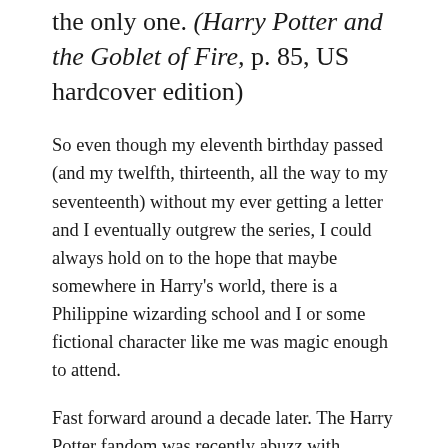the only one. (Harry Potter and the Goblet of Fire, p. 85, US hardcover edition)
So even though my eleventh birthday passed (and my twelfth, thirteenth, all the way to my seventeenth) without my ever getting a letter and I eventually outgrew the series, I could always hold on to the hope that maybe somewhere in Harry's world, there is a Philippine wizarding school and I or some fictional character like me was magic enough to attend.
Fast forward around a decade later. The Harry Potter fandom was recently abuzz with Pottermore's release of information on four of eight other wizarding schools (not counting Beauxbatons...